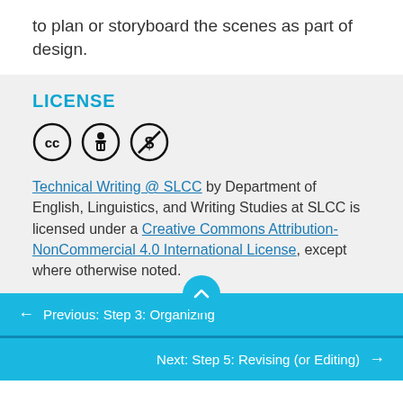to plan or storyboard the scenes as part of design.
LICENSE
[Figure (illustration): Creative Commons license icons: CC, Attribution (person icon), NonCommercial (dollar sign with slash)]
Technical Writing @ SLCC by Department of English, Linguistics, and Writing Studies at SLCC is licensed under a Creative Commons Attribution-NonCommercial 4.0 International License, except where otherwise noted.
← Previous: Step 3: Organizing
Next: Step 5: Revising (or Editing) →